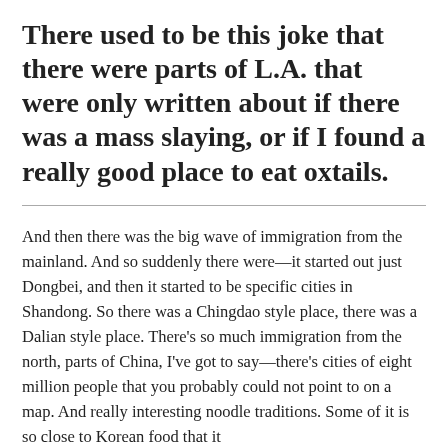There used to be this joke that there were parts of L.A. that were only written about if there was a mass slaying, or if I found a really good place to eat oxtails.
And then there was the big wave of immigration from the mainland. And so suddenly there were—it started out just Dongbei, and then it started to be specific cities in Shandong. So there was a Chingdao style place, there was a Dalian style place. There's so much immigration from the north, parts of China, I've got to say—there's cities of eight million people that you probably could not point to on a map. And really interesting noodle traditions. Some of it is so close to Korean food that it